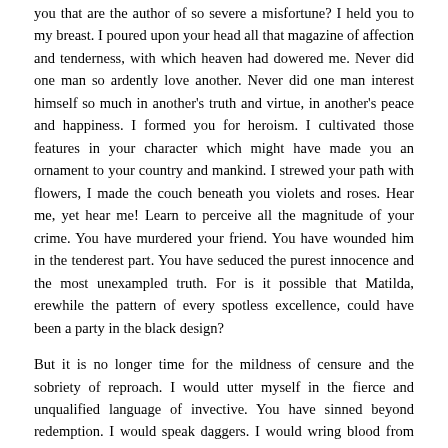you that are the author of so severe a misfortune? I held you to my breast. I poured upon your head all that magazine of affection and tenderness, with which heaven had dowered me. Never did one man so ardently love another. Never did one man interest himself so much in another's truth and virtue, in another's peace and happiness. I formed you for heroism. I cultivated those features in your character which might have made you an ornament to your country and mankind. I strewed your path with flowers, I made the couch beneath you violets and roses. Hear me, yet hear me! Learn to perceive all the magnitude of your crime. You have murdered your friend. You have wounded him in the tenderest part. You have seduced the purest innocence and the most unexampled truth. For is it possible that Matilda, erewhile the pattern of every spotless excellence, could have been a party in the black design?
But it is no longer time for the mildness of censure and the sobriety of reproach. I would utter myself in the fierce and unqualified language of invective. You have sinned beyond redemption. I would speak daggers. I would wring blood from your heart at every word. But no; I will not waste myself in angry words. I will not indulge to the bitterness of opprobrium. Nothing but the anguish of my soul should have wrung from me these solitary lines. Nothing but the fear of not surviving to my revenge, should have prevented me from forestalling them in person. — I will meet thee at Coronzo.